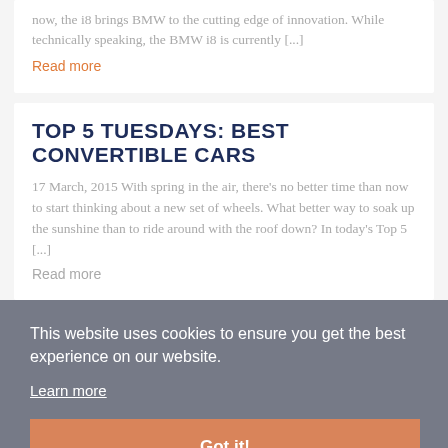now, the i8 brings BMW to the cutting edge of innovation. While technically speaking, the BMW i8 is currently [...]
Read more
TOP 5 TUESDAYS: BEST CONVERTIBLE CARS
17 March, 2015 With spring in the air, there's no better time than now to start thinking about a new set of wheels. What better way to soak up the sunshine than to ride around with the roof down? In today's Top 5 [...]
Read more
This website uses cookies to ensure you get the best experience on our website.
Learn more
Got it!
« Older Entries